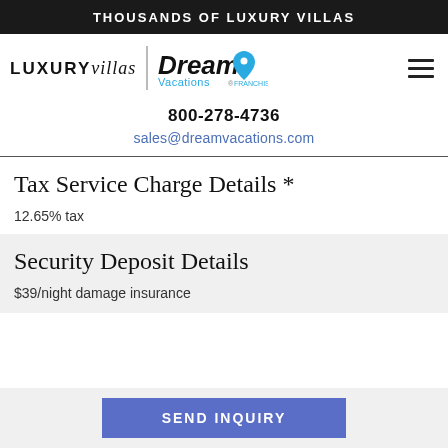THOUSANDS OF LUXURY VILLAS
[Figure (logo): LUXURYvillas | Dream Vacations logo with hamburger menu icon]
800-278-4736
sales@dreamvacations.com
Tax Service Charge Details *
12.65% tax
Security Deposit Details
$39/night damage insurance
SEND INQUIRY